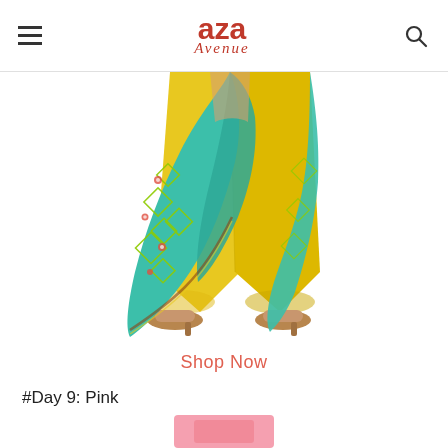Aza Avenue
[Figure (photo): Fashion product photo showing lower body of a woman wearing bright yellow wide-leg palazzo pants and a teal/turquoise printed dupatta with geometric and floral embroidery, and tan heeled shoes. White background.]
Shop Now
#Day 9: Pink
[Figure (photo): Partially visible product photo at bottom of page, showing a pink outfit, cropped.]